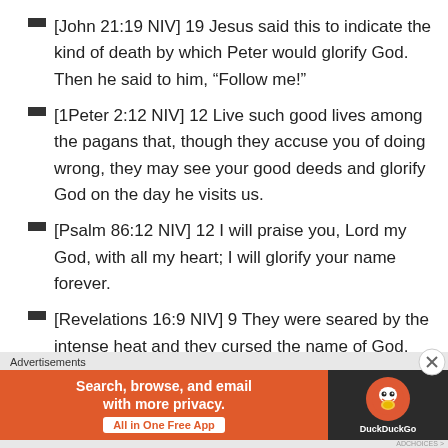[John 21:19 NIV] 19 Jesus said this to indicate the kind of death by which Peter would glorify God. Then he said to him, “Follow me!”
[1Peter 2:12 NIV] 12 Live such good lives among the pagans that, though they accuse you of doing wrong, they may see your good deeds and glorify God on the day he visits us.
[Psalm 86:12 NIV] 12 I will praise you, Lord my God, with all my heart; I will glorify your name forever.
[Revelations 16:9 NIV] 9 They were seared by the intense heat and they cursed the name of God, who had control over these plagues, but they refused to
Advertisements
[Figure (other): DuckDuckGo advertisement banner: orange left section with text 'Search, browse, and email with more privacy. All in One Free App', dark right section with DuckDuckGo duck logo]